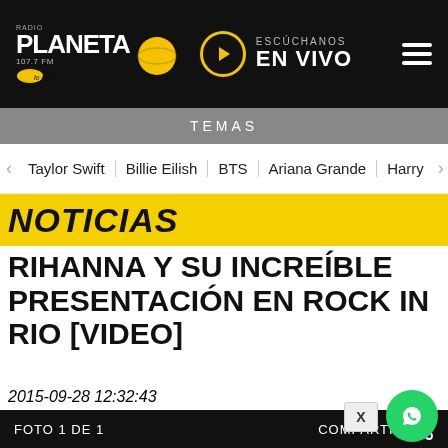Radio Planeta | ESCÚCHANOS EN VIVO
TEMAS
Taylor Swift | Billie Eilish | BTS | Ariana Grande | Harry
NOTICIAS
RIHANNA Y SU INCREÍBLE PRESENTACIÓN EN ROCK IN RIO [VIDEO]
2015-09-28 12:32:43
FOTO 1 DE 1
COMPARTIR